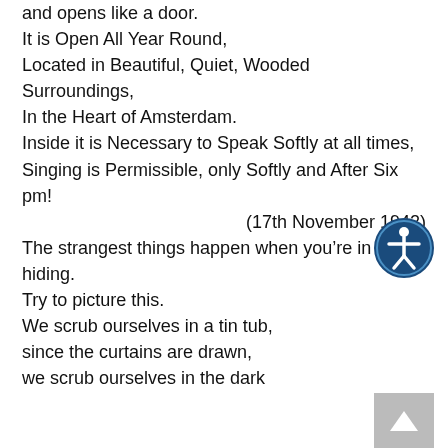and opens like a door.
It is Open All Year Round,
Located in Beautiful, Quiet, Wooded Surroundings,
In the Heart of Amsterdam.
Inside it is Necessary to Speak Softly at all times,
Singing is Permissible, only Softly and After Six pm!
(17th November 1942)
The strangest things happen when you’re in hiding.
Try to picture this.
We scrub ourselves in a tin tub,
since the curtains are drawn,
we scrub ourselves in the dark